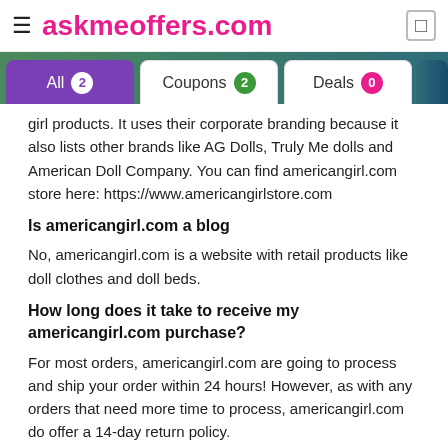≡ askmeoffers.com
All 2   Coupons 2   Deals 0
girl products. It uses their corporate branding because it also lists other brands like AG Dolls, Truly Me dolls and American Doll Company. You can find americangirl.com store here: https://www.americangirlstore.com
Is americangirl.com a blog
No, americangirl.com is a website with retail products like doll clothes and doll beds.
How long does it take to receive my americangirl.com purchase?
For most orders, americangirl.com are going to process and ship your order within 24 hours! However, as with any orders that need more time to process, americangirl.com do offer a 14-day return policy.